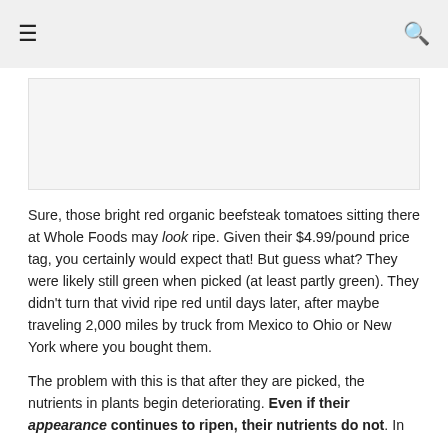≡  🔍
[Figure (photo): Blank/white image placeholder area]
Sure, those bright red organic beefsteak tomatoes sitting there at Whole Foods may look ripe. Given their $4.99/pound price tag, you certainly would expect that! But guess what? They were likely still green when picked (at least partly green). They didn't turn that vivid ripe red until days later, after maybe traveling 2,000 miles by truck from Mexico to Ohio or New York where you bought them.
The problem with this is that after they are picked, the nutrients in plants begin deteriorating. Even if their appearance continues to ripen, their nutrients do not. In